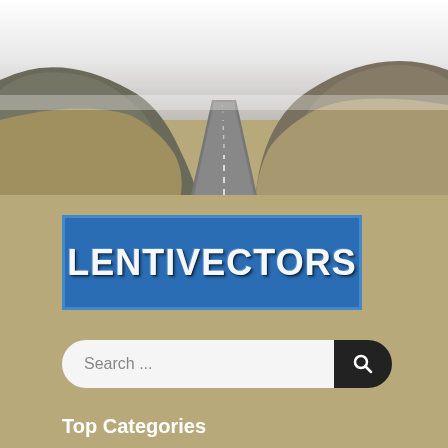[Figure (photo): Aerial view of a long straight road disappearing into the horizon, flanked by hilly terrain and mountains in the distance, under an overcast sky. The image sits at the top of the page as a hero/banner image.]
[Figure (logo): LENTIVECTORS logo: white distressed/grunge-style text on a blue rectangular background with a thin border.]
Search ...
Top Categories
Select Category